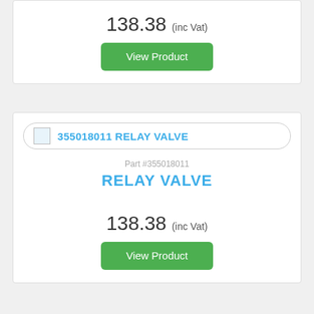138.38 (inc Vat)
View Product
355018011 RELAY VALVE
Part #355018011
RELAY VALVE
138.38 (inc Vat)
View Product